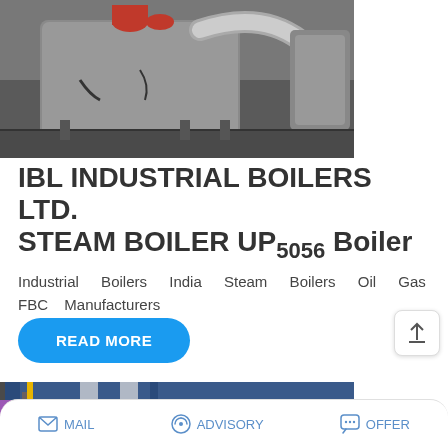[Figure (photo): Industrial boiler machinery with metallic pipes and equipment in a factory setting]
IBL INDUSTRIAL BOILERS LTD. STEAM BOILER UP5056 Boiler
Industrial Boilers India Steam Boilers Oil Gas FBC Manufacturers
READ MORE
[Figure (photo): Blue industrial boiler unit in a facility with WhatsApp sticker save overlay]
Save Stickers on WhatsApp
MAIL   ADVISORY   OFFER